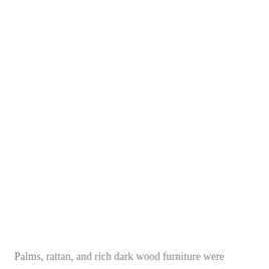Palms, rattan, and rich dark wood furniture were